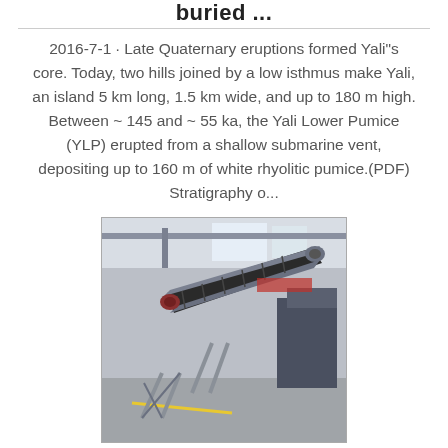buried ...
2016-7-1 · Late Quaternary eruptions formed Yali"s core. Today, two hills joined by a low isthmus make Yali, an island 5 km long, 1.5 km wide, and up to 180 m high. Between ~ 145 and ~ 55 ka, the Yali Lower Pumice (YLP) erupted from a shallow submarine vent, depositing up to 160 m of white rhyolitic pumice.(PDF) Stratigraphy o...
[Figure (photo): Industrial conveyor belt in a factory or mining facility, shown at an angle inside a large warehouse with overhead cranes and steel structure.]
Our History
Our History. LAVA Mining & Quarrying was established in 1952 to operate the pumice